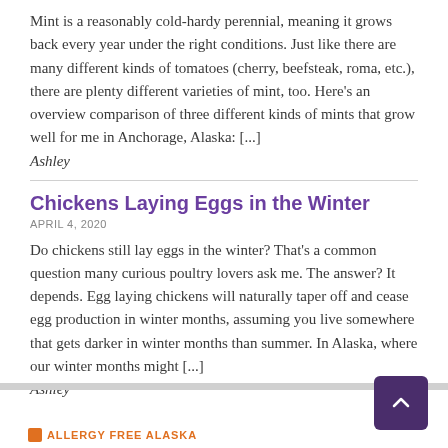Mint is a reasonably cold-hardy perennial, meaning it grows back every year under the right conditions. Just like there are many different kinds of tomatoes (cherry, beefsteak, roma, etc.), there are plenty different varieties of mint, too. Here's an overview comparison of three different kinds of mints that grow well for me in Anchorage, Alaska: [...]
Ashley
Chickens Laying Eggs in the Winter
APRIL 4, 2020
Do chickens still lay eggs in the winter? That's a common question many curious poultry lovers ask me. The answer? It depends. Egg laying chickens will naturally taper off and cease egg production in winter months, assuming you live somewhere that gets darker in winter months than summer. In Alaska, where our winter months might [...]
Ashley
ALLERGY FREE ALASKA